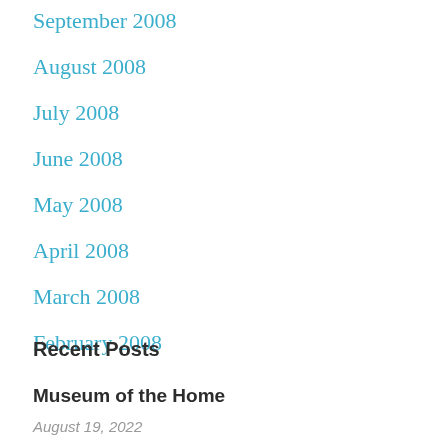September 2008
August 2008
July 2008
June 2008
May 2008
April 2008
March 2008
February 2008
Recent Posts
Museum of the Home
August 19, 2022